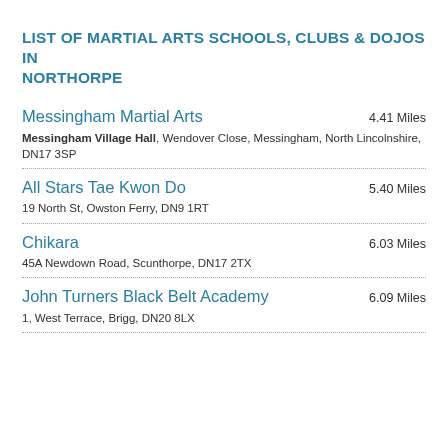LIST OF MARTIAL ARTS SCHOOLS, CLUBS & DOJOS IN NORTHORPE
Messingham Martial Arts — 4.41 Miles — Messingham Village Hall, Wendover Close, Messingham, North Lincolnshire, DN17 3SP
All Stars Tae Kwon Do — 5.40 Miles — 19 North St, Owston Ferry, DN9 1RT
Chikara — 6.03 Miles — 45A Newdown Road, Scunthorpe, DN17 2TX
John Turners Black Belt Academy — 6.09 Miles — 1, West Terrace, Brigg, DN20 8LX